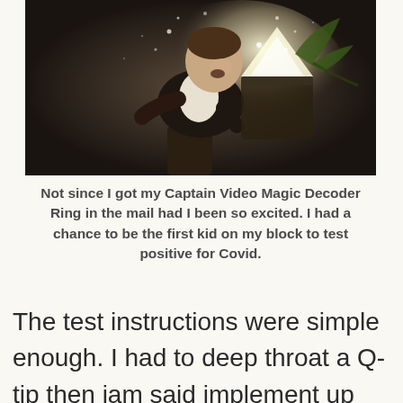[Figure (photo): A joyful young boy in a white dress shirt and dark jacket, laughing excitedly while holding an open box with light and sparkles emanating from it, along with some plant/floral elements. Dark dramatic background with light particles.]
Not since I got my Captain Video Magic Decoder Ring in the mail had I been so excited. I had a chance to be the first kid on my block to test positive for Covid.
The test instructions were simple enough. I had to deep throat a Q-tip then jam said implement up each